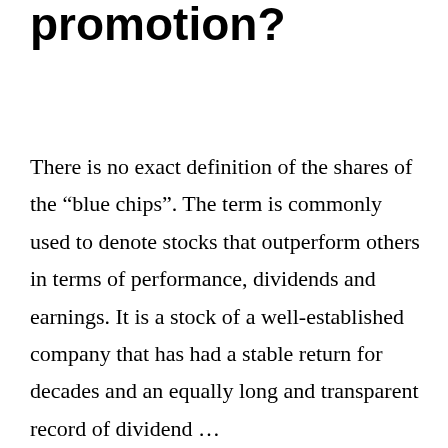promotion?
There is no exact definition of the shares of the “blue chips”. The term is commonly used to denote stocks that outperform others in terms of performance, dividends and earnings. It is a stock of a well-established company that has had a stable return for decades and an equally long and transparent record of dividend …